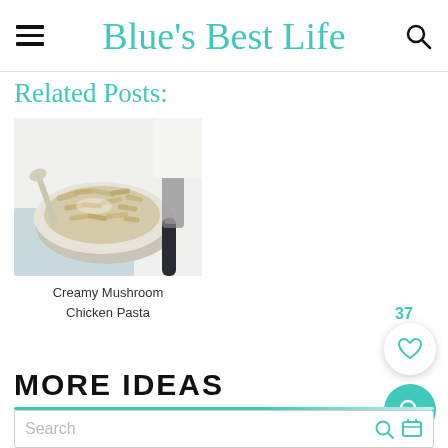Blue's Best Life
Related Posts:
[Figure (photo): Bowl of creamy mushroom chicken pasta with a spoon, on a light blue cloth with a black grater handle visible]
Creamy Mushroom Chicken Pasta
MORE IDEAS
Search